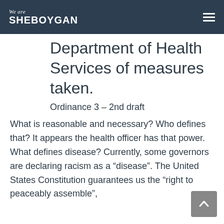We are SHEBOYGAN
Department of Health Services of measures taken.
Ordinance 3 – 2nd draft
What is reasonable and necessary? Who defines that? It appears the health officer has that power. What defines disease? Currently, some governors are declaring racism as a “disease”. The United States Constitution guarantees us the “right to peaceably assemble”,